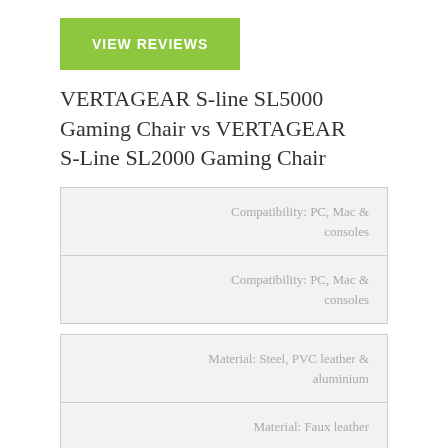VIEW REVIEWS
VERTAGEAR S-line SL5000 Gaming Chair vs VERTAGEAR S-Line SL2000 Gaming Chair
| Compatibility: PC, Mac & consoles |
| Compatibility: PC, Mac & consoles |
| Material: Steel, PVC leather & aluminium |
| Material: Faux leather |
| FEATURES |